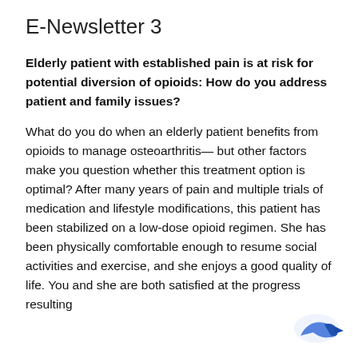E-Newsletter 3
Elderly patient with established pain is at risk for potential diversion of opioids: How do you address patient and family issues?
What do you do when an elderly patient benefits from opioids to manage osteoarthritis— but other factors make you question whether this treatment option is optimal? After many years of pain and multiple trials of medication and lifestyle modifications, this patient has been stabilized on a low-dose opioid regimen. She has been physically comfortable enough to resume social activities and exercise, and she enjoys a good quality of life. You and she are both satisfied at the progress resulting